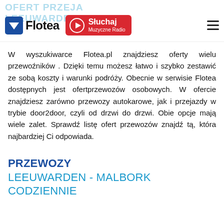Flotea | Słuchaj Muzyczne Radio
W wyszukiwarce Flotea.pl znajdziesz oferty wielu przewoźników . Dzięki temu możesz łatwo i szybko zestawić ze sobą koszty i warunki podróży. Obecnie w serwisie Flotea dostępnych jest ofertprzewozów osobowych. W ofercie znajdziesz zarówno przewozy autokarowe, jak i przejazdy w trybie door2door, czyli od drzwi do drzwi. Obie opcje mają wiele zalet. Sprawdź listę ofert przewozów znajdź tą, która najbardziej Ci odpowiada.
PRZEWOZY LEEUWARDEN - MALBORK CODZIENNIE